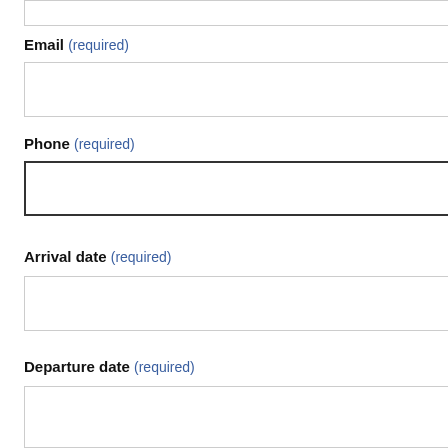Email (required)
Phone (required)
Arrival date (required)
Departure date (required)